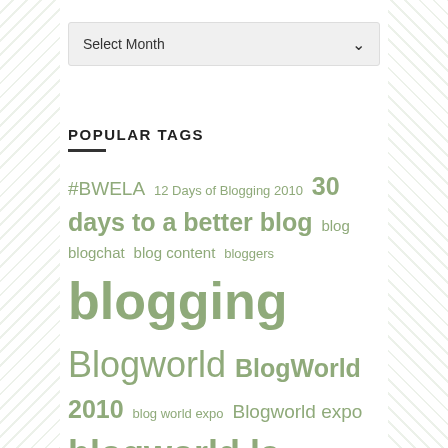[Figure (other): Select Month dropdown widget]
POPULAR TAGS
#BWELA 12 Days of Blogging 2010 30 days to a better blog blog blogchat blog content bloggers blogging Blogworld BlogWorld 2010 blog world expo Blogworld expo blogworld la BlogWorld NY 2011 branding Brilliant Bloggers business Business BWE10 Community Content content creation Ewan Spence Facebook Google Google Plus links Marketing Monetization New Media